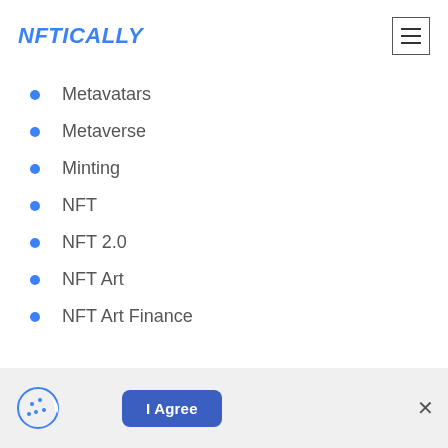NFTICALLY
Metavatars
Metaverse
Minting
NFT
NFT 2.0
NFT Art
NFT Art Finance
[Figure (illustration): Cookie consent bar with cookie icon, I Agree button, and close X button]